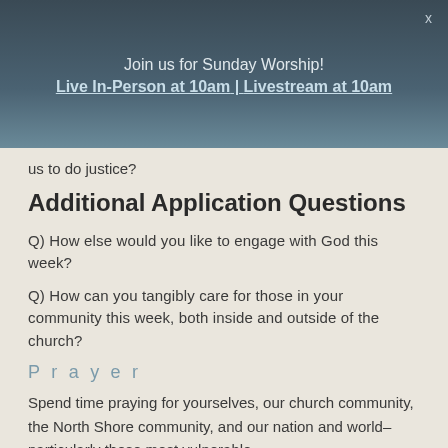Join us for Sunday Worship!
Live In-Person at 10am | Livestream at 10am
us to do justice?
Additional Application Questions
Q) How else would you like to engage with God this week?
Q) How can you tangibly care for those in your community this week, both inside and outside of the church?
Prayer
Spend time praying for yourselves, our church community, the North Shore community, and our nation and world–particularly those most vulnerable.